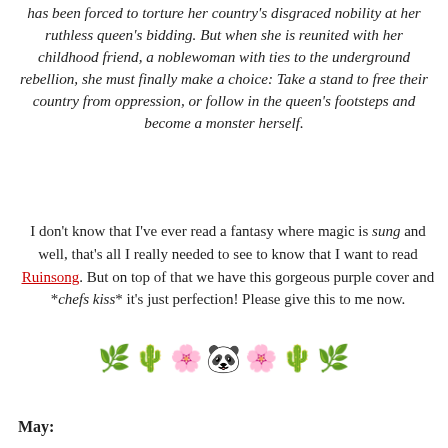has been forced to torture her country's disgraced nobility at her ruthless queen's bidding. But when she is reunited with her childhood friend, a noblewoman with ties to the underground rebellion, she must finally make a choice: Take a stand to free their country from oppression, or follow in the queen's footsteps and become a monster herself.
I don't know that I've ever read a fantasy where magic is sung and well, that's all I really needed to see to know that I want to read Ruinsong. But on top of that we have this gorgeous purple cover and *chefs kiss* it's just perfection! Please give this to me now.
[Figure (illustration): Decorative divider with leaf/botanical emoji, cactus emoji, panda face emoji, and other plant decorations arranged horizontally]
May: